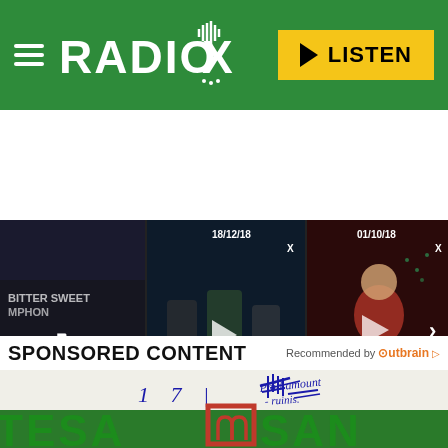[Figure (screenshot): Radio X website header with green background, hamburger menu icon, Radio X logo, and yellow LISTEN button with play icon]
[Figure (screenshot): Video thumbnail strip showing three Radio X video thumbnails: a currently playing video, Richard Ashcroft on Being a Father and... (dated 18/12/18), and Richard Ashcroft - They Don't Own Me LIVE on... (dated 01/10/18)]
SPONSORED CONTENT
Recommended by Outbrain
[Figure (photo): Close-up photo of Intesa Sanpaolo bank sign in green letters with red logo box, with handwritten blue ink text/signature visible above]